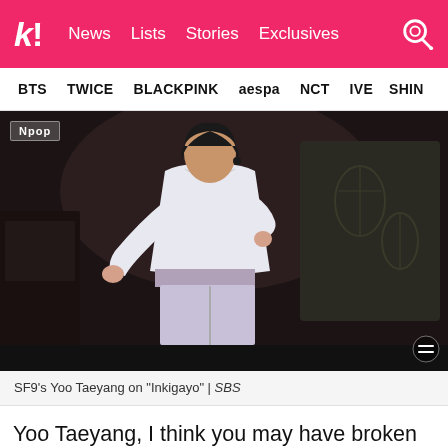k! News Lists Stories Exclusives
BTS TWICE BLACKPINK aespa NCT IVE SHINE
[Figure (photo): SF9's Yoo Taeyang performing on stage in a white crop top outfit, dancing with fists raised, on Inkigayo]
SF9's Yoo Taeyang on "Inkigayo" | SBS
Yoo Taeyang, I think you may have broken the internet with your crop top look. You can check out the SF9 member's fancam for the